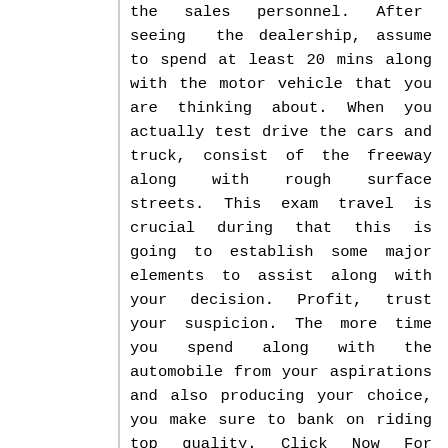the sales personnel. After seeing the dealership, assume to spend at least 20 mins along with the motor vehicle that you are thinking about. When you actually test drive the cars and truck, consist of the freeway along with rough surface streets. This exam travel is crucial during that this is going to establish some major elements to assist along with your decision. Profit, trust your suspicion. The more time you spend along with the automobile from your aspirations and also producing your choice, you make sure to bank on riding top quality. Click Now For Further Info: Porsche Macan For Lease Miami
Financial choices are actually offered to you during this process. It is actually necessary